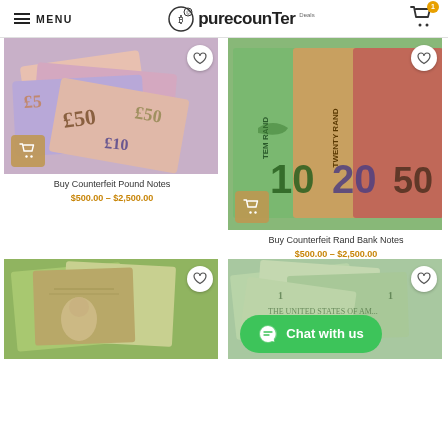MENU | purecounTer Deals | Cart (1)
[Figure (photo): Pile of British pound notes (£5, £10, £50) in pink, purple and blue hues]
Buy Counterfeit Pound Notes
$500.00 – $2,500.00
[Figure (photo): South African Rand banknotes showing TEN RAND, TWENTY RAND denominations (10, 20, 50) in green, orange and red]
Buy Counterfeit Rand Bank Notes
$500.00 – $2,500.00
[Figure (photo): Saudi Arabian Riyal banknotes in green, purple and yellow hues with portrait of king]
[Figure (photo): US Dollar bills scattered, green and grey tones]
Chat with us